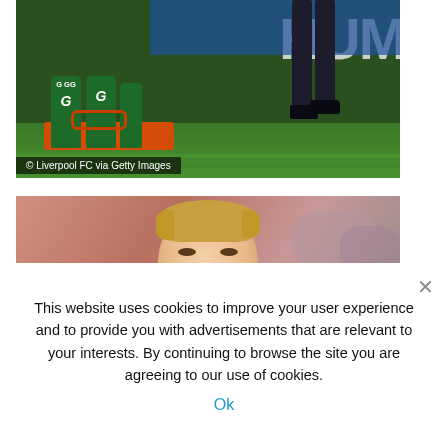[Figure (photo): Photo showing Gatorade bottles in a carrier on a sports field sideline, with a person's legs visible in the background and a blue banner reading 'HUM' partially visible. Credit: © Liverpool FC via Getty Images]
[Figure (photo): Photo of a middle-aged blonde man (Ronald Koeman) smiling, wearing a dark jacket, with a blurred crowd background]
This website uses cookies to improve your user experience and to provide you with advertisements that are relevant to your interests. By continuing to browse the site you are agreeing to our use of cookies.
Ok